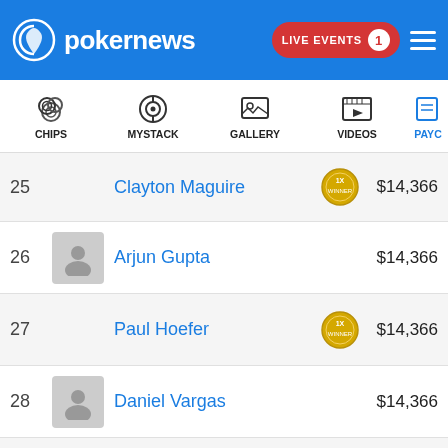pokernews — LIVE EVENTS 1
[Figure (screenshot): Navigation icon bar with CHIPS, MYSTACK, GALLERY, VIDEOS, PAYC (partially visible) icons]
| Rank | Player | Badge | Prize |
| --- | --- | --- | --- |
| 25 | Clayton Maguire | 1x winner | $14,366 |
| 26 | Arjun Gupta |  | $14,366 |
| 27 | Paul Hoefer | 1x winner | $14,366 |
| 28 | Daniel Vargas |  | $14,366 |
| 29 | Justin Young |  | $14,366 |
| 30 | Brian Yoon | 4x winner | $14,366 |